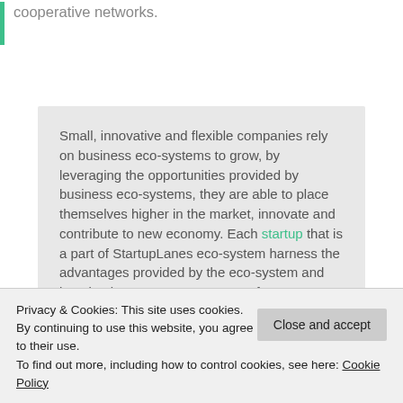cooperative networks.
Small, innovative and flexible companies rely on business eco-systems to grow, by leveraging the opportunities provided by business eco-systems, they are able to place themselves higher in the market, innovate and contribute to new economy. Each startup that is a part of StartupLanes eco-system harness the advantages provided by the eco-system and levering key resources are ways for a company to innovate and co-evolve.
Privacy & Cookies: This site uses cookies. By continuing to use this website, you agree to their use.
To find out more, including how to control cookies, see here: Cookie Policy
As the imperative of every business is to